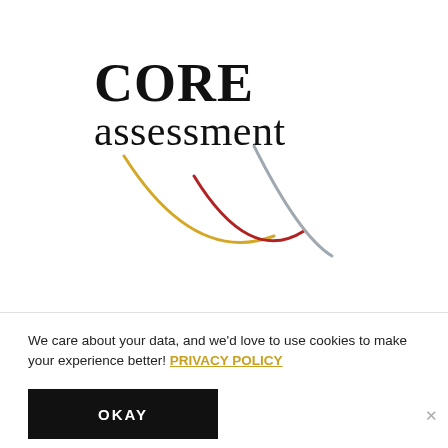[Figure (logo): CORE assessment logo with three curved arcs in yellow, red, and grey beneath the text]
We care about your data, and we'd love to use cookies to make your experience better! PRIVACY POLICY
OKAY